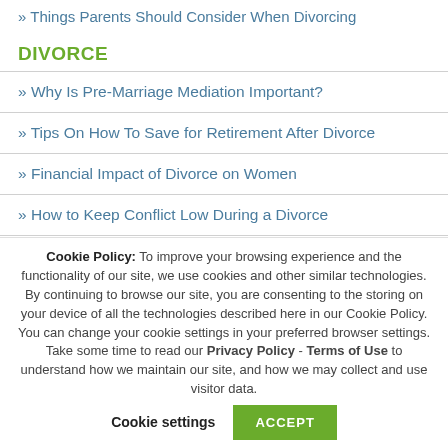» Things Parents Should Consider When Divorcing
DIVORCE
» Why Is Pre-Marriage Mediation Important?
» Tips On How To Save for Retirement After Divorce
» Financial Impact of Divorce on Women
» How to Keep Conflict Low During a Divorce
Cookie Policy: To improve your browsing experience and the functionality of our site, we use cookies and other similar technologies. By continuing to browse our site, you are consenting to the storing on your device of all the technologies described here in our Cookie Policy. You can change your cookie settings in your preferred browser settings. Take some time to read our Privacy Policy - Terms of Use to understand how we maintain our site, and how we may collect and use visitor data. Cookie settings ACCEPT